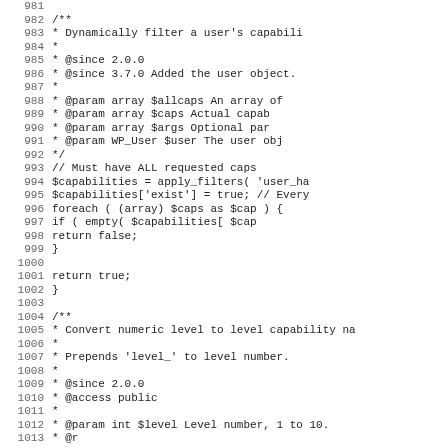[Figure (screenshot): Source code listing showing PHP code lines 981-1012, with line numbers on the left and code content on the right, including PHPDoc comments and function body for capability filtering and level conversion.]